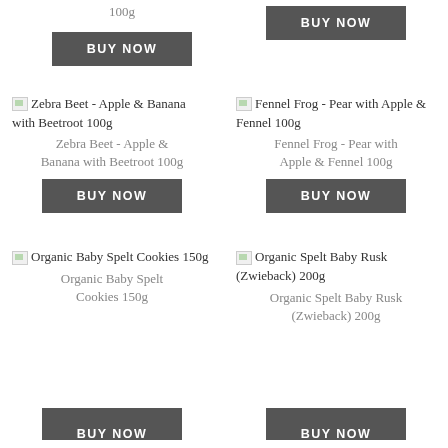100g
BUY NOW
BUY NOW
[Figure (photo): Zebra Beet - Apple & Banana with Beetroot 100g product image (broken image placeholder)]
Zebra Beet - Apple & Banana with Beetroot 100g
Zebra Beet - Apple & Banana with Beetroot 100g
BUY NOW
[Figure (photo): Fennel Frog - Pear with Apple & Fennel 100g product image (broken image placeholder)]
Fennel Frog - Pear with Apple & Fennel 100g
Fennel Frog - Pear with Apple & Fennel 100g
BUY NOW
[Figure (photo): Organic Baby Spelt Cookies 150g product image (broken image placeholder)]
Organic Baby Spelt Cookies 150g
Organic Baby Spelt Cookies 150g
[Figure (photo): Organic Spelt Baby Rusk (Zwieback) 200g product image (broken image placeholder)]
Organic Spelt Baby Rusk (Zwieback) 200g
Organic Spelt Baby Rusk (Zwieback) 200g
BUY NOW
BUY NOW